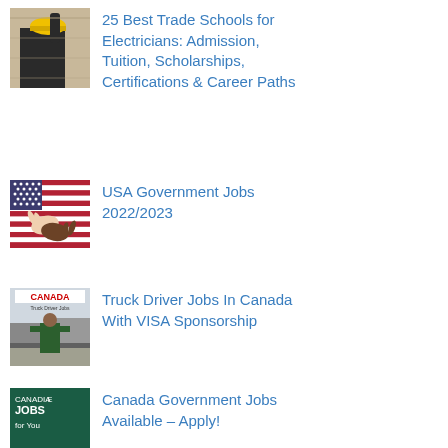[Figure (photo): Person in yellow hard hat working on electrical wiring]
25 Best Trade Schools for Electricians: Admission, Tuition, Scholarships, Certifications & Career Paths
[Figure (photo): Hands of different ethnicities on an American flag]
USA Government Jobs 2022/2023
[Figure (photo): CANADA Truck Driver Jobs banner with truck driver standing in front of trucks]
Truck Driver Jobs In Canada With VISA Sponsorship
[Figure (photo): Dark teal background with text: CANADIAN JOBS for You]
Canada Government Jobs Available – Apply!